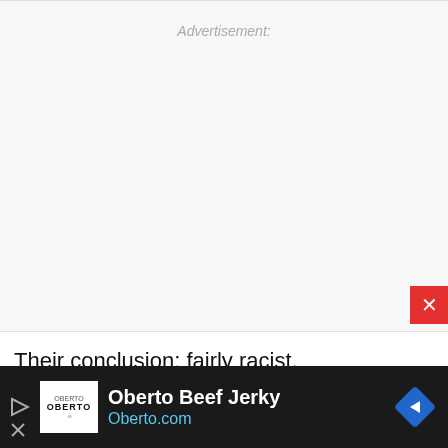Advertisement:
Their conclusion: fairly racist.
[Figure (other): Bottom advertisement banner for Oberto Beef Jerky with logo, title text 'Oberto Beef Jerky', URL 'Oberto.com', navigation arrow diamond icon, and close button.]